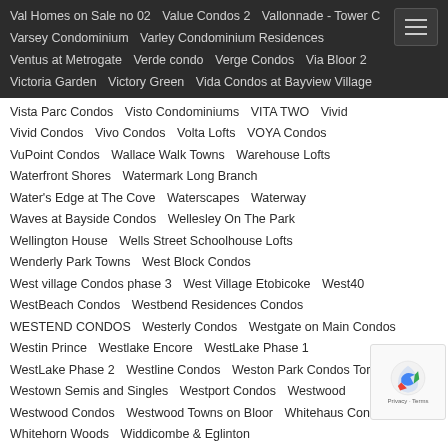Val Homes on Sale no 02   Value Condos 2   Vallonnade - Tower C   Varsey Condominium   Varley Condominium Residences   Ventus at Metrogate   Verde condo   Verge Condos   Via Bloor 2   Victoria Garden   Victory Green   Vida Condos at Bayview Village
Vista Parc Condos   Visto Condominiums   VITA TWO   Vivid   Vivid Condos   Vivo Condos   Volta Lofts   VOYA Condos   VuPoint Condos   Wallace Walk Towns   Warehouse Lofts   Waterfront Shores   Watermark Long Branch   Water's Edge at The Cove   Waterscapes   Waterway   Waves at Bayside Condos   Wellesley On The Park   Wellington House   Wells Street Schoolhouse Lofts   Wenderly Park Towns   West Block Condos   West village Condos phase 3   West Village Etobicoke   West40   WestBeach Condos   Westbend Residences Condos   WESTEND CONDOS   Westerly Condos   Westgate on Main Condos   Westin Prince   Westlake Encore   WestLake Phase 1   WestLake Phase 2   Westline Condos   Weston Park Condos Toronto   Westown Semis and Singles   Westport Condos   Westwood   Westwood Condos   Westwood Towns on Bloor   Whitehaus Condos   Whitehorn Woods   Widdicombe & Eglinton   Wide Suites Condominium   Windermere Manor   Wish Condos   Wonder Condos   Woodsworth Condos   World on Yonge   X2   XO Condos   XO Condos 2   Xpression Condos (I & II)   Y9825   YC Condos - Yonge at College   Yonge & Wellesley Offices On The Park   Yonge + Rich   Yonge Parc   Yorkdale Village Townhomes